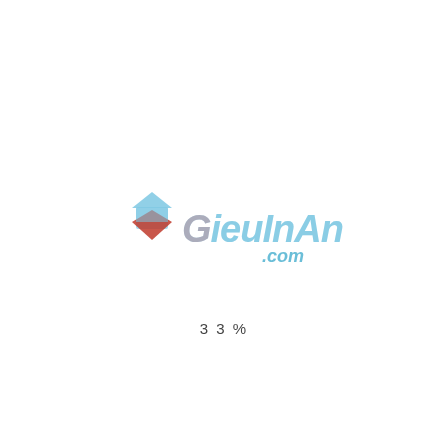[Figure (logo): GieuInAn.com logo with stylized blue italic text 'GieuInAn' and '.com', with a red and blue hexagonal/diamond shape on the left side.]
33%